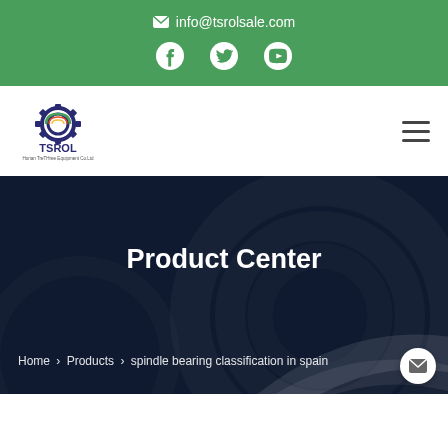info@tsrolsale.com
[Figure (logo): TSROL logo with gear icon and company name]
Product Center
Home > Products > spindle bearing classification in spain